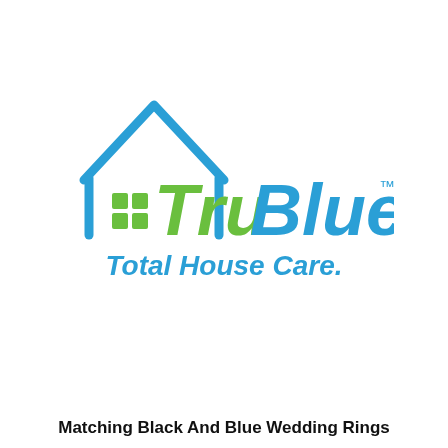[Figure (logo): TruBlue Total House Care logo — a blue house outline with a green grid icon inside on the left, and the text 'Tru' in green and 'Blue' in blue bold italic, with 'Total House Care.' in blue italic below]
Matching Black And Blue Wedding Rings